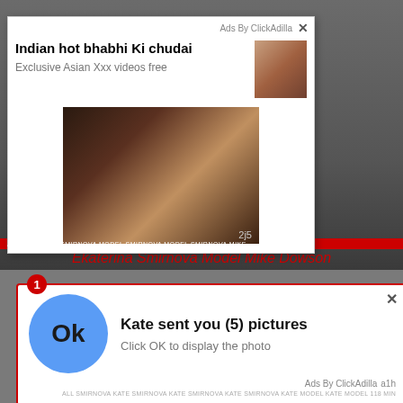[Figure (screenshot): Advertisement popup showing adult content ad with thumbnail and video preview. Title: Indian hot bhabhi Ki chudai. Subtitle: Exclusive Asian Xxx videos free. Attribution: Ads By ClickAdilla with close button. Code 2j5 in corner.]
Ekaterina Smirnova Model Mike Dowson
[Figure (screenshot): Browser notification popup with red border. Badge showing number 1. Blue circle with Ok text. Title: Kate sent you (5) pictures. Subtitle: Click OK to display the photo. Footer: Ads By ClickAdilla a1h]